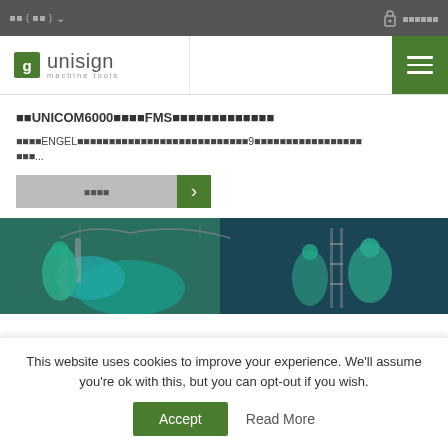[language selector] [login]
[Figure (logo): Unisign machine tools logo with green G icon]
■■UNICOM6000■■■■FMS■■■■■■■■■■■■■
■■■■ENGEL■■■■■■■■■■■■■■■■■■■■■■■■■■■9■■■■■■■■■■■■■■■■■...
続きを読む (Read more button)
[Figure (photo): Workers in green protective gear working on industrial machinery]
This website uses cookies to improve your experience. We'll assume you're ok with this, but you can opt-out if you wish.
Accept | Read More